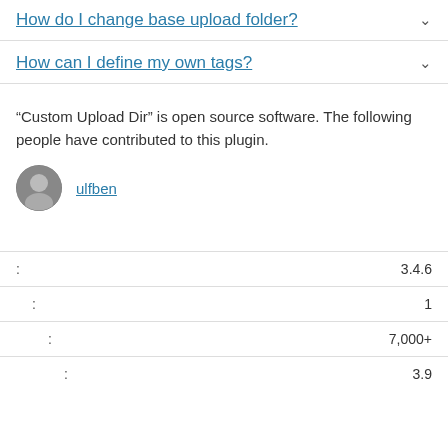How do I change base upload folder?
How can I define my own tags?
“Custom Upload Dir” is open source software. The following people have contributed to this plugin.
ulfben
|  |  |
| --- | --- |
| : | 3.4.6 |
| : | 1 |
| : | 7,000+ |
| : | 3.9 |